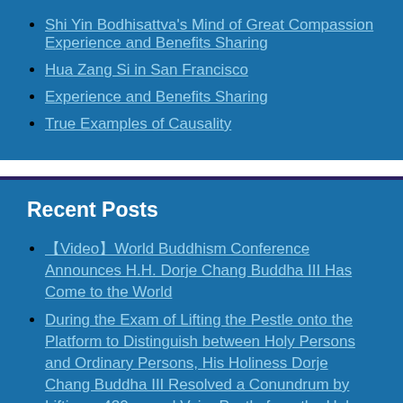Shi Yin Bodhisattva's Mind of Great Compassion Experience and Benefits Sharing
Hua Zang Si in San Francisco
Experience and Benefits Sharing
True Examples of Causality
Recent Posts
【Video】World Buddhism Conference Announces H.H. Dorje Chang Buddha III Has Come to the World
During the Exam of Lifting the Pestle onto the Platform to Distinguish between Holy Persons and Ordinary Persons, His Holiness Dorje Chang Buddha III Resolved a Conundrum by Lifting a 420-pound Vajra Pestle from the Holy Base with One Hand and